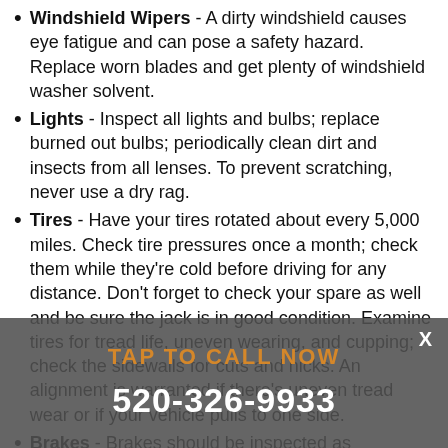Windshield Wipers - A dirty windshield causes eye fatigue and can pose a safety hazard. Replace worn blades and get plenty of windshield washer solvent.
Lights - Inspect all lights and bulbs; replace burned out bulbs; periodically clean dirt and insects from all lenses. To prevent scratching, never use a dry rag.
Tires - Have your tires rotated about every 5,000 miles. Check tire pressures once a month; check them while they're cold before driving for any distance. Don't forget to check your spare as well and be sure the jack is in good condition. Examine tires for tread life, uneven wearing, and cupping; check the sidewalls for cuts and nicks. An alignment is warranted if there's uneven tread wear or if your vehicle pulls to one side.
Brakes - Brakes should be inspected as recommended in your manual, or sooner if you notice pulsations, grabbing, noises, or longer stopping distance. Minor brake problems should be corrected promptly.
Battery - Batteries can fail any time of year. The only accurate way to detect a weak battery is with professional equipment. For the battery: Scrape away corrosion from posts and cable connections; clean all surfaces; re-tighten all connections. If battery caps are removable, check the fluid level monthly. Avoid contact
[Figure (infographic): Gray overlay banner with 'TAP TO CALL NOW' in orange text and phone number '520-326-9933' in white, with an X close button in white at top right.]